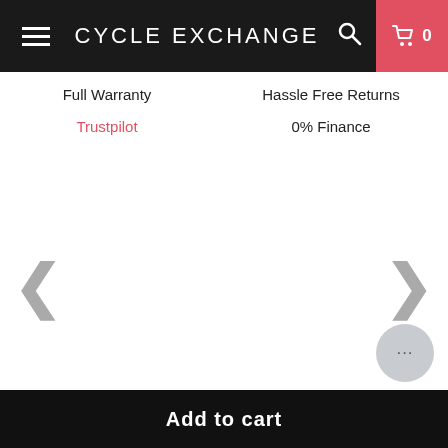CYCLE EXCHANGE
Full Warranty
Hassle Free Returns
Trustpilot
0% Finance
[Figure (screenshot): E-commerce product page carousel area with left and right navigation chevron arrows on white background]
...
Add to cart